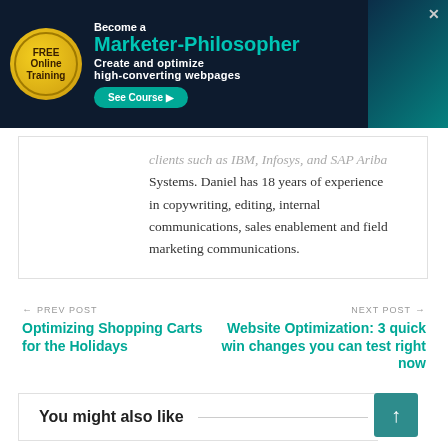[Figure (infographic): Banner ad for 'FREE Online Training — Become a Marketer-Philosopher: Create and optimize high-converting webpages' with a See Course button, gold seal badge, dark navy background, and teal brain graphic on the right.]
clients such as IBM, Infosys, and SAP Ariba Systems. Daniel has 18 years of experience in copywriting, editing, internal communications, sales enablement and field marketing communications.
← PREV POST
Optimizing Shopping Carts for the Holidays
NEXT POST →
Website Optimization: 3 quick win changes you can test right now
You might also like